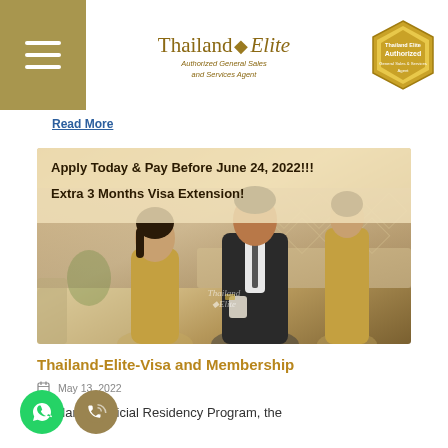Thailand Elite — Authorized General Sales and Services Agent
Read More
[Figure (photo): Thailand Elite promotional banner with text 'Apply Today & Pay Before June 24, 2022!!! Extra 3 Months Visa Extension!' showing two staff members consulting with a client in a luxury lounge setting, with the Thailand Elite logo watermark]
Thailand-Elite-Visa and Membership
May 13, 2022
Thailand's Official Residency Program, the